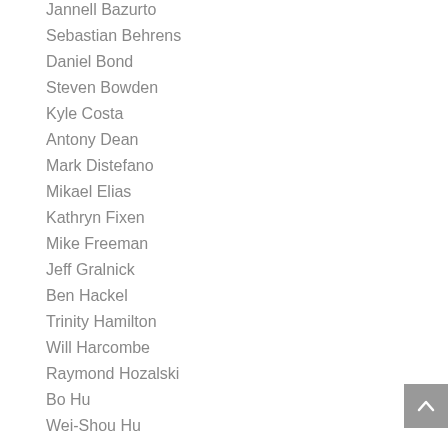Jannell Bazurto
Sebastian Behrens
Daniel Bond
Steven Bowden
Kyle Costa
Antony Dean
Mark Distefano
Mikael Elias
Kathryn Fixen
Mike Freeman
Jeff Gralnick
Ben Hackel
Trinity Hamilton
Will Harcombe
Raymond Hozalski
Bo Hu
Wei-Shou Hu